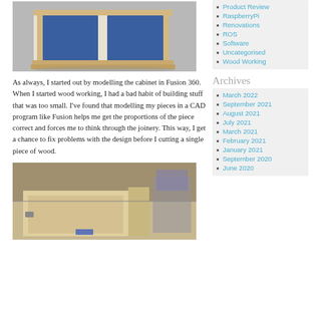[Figure (photo): 3D render of a wooden cabinet with blue panel inserts on a gray background]
As always, I started out by modelling the cabinet in Fusion 360. When I started wood working, I had a bad habit of building stuff that was too small. I've found that modelling my pieces in a CAD program like Fusion helps me get the proportions of the piece correct and forces me to think through the joinery. This way, I get a chance to fix problems with the design before I cutting a single piece of wood.
[Figure (photo): Workshop photo showing wooden box/cabinet construction in progress]
Product Review
RaspberryPi
Renovations
ROS
Software
Uncategorised
Wood Working
Archives
March 2022
September 2021
August 2021
July 2021
March 2021
February 2021
January 2021
September 2020
June 2020